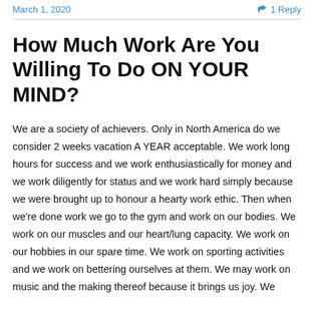March 1, 2020   1 Reply
How Much Work Are You Willing To Do ON YOUR MIND?
We are a society of achievers. Only in North America do we consider 2 weeks vacation A YEAR acceptable. We work long hours for success and we work enthusiastically for money and we work diligently for status and we work hard simply because we were brought up to honour a hearty work ethic. Then when we're done work we go to the gym and work on our bodies. We work on our muscles and our heart/lung capacity. We work on our hobbies in our spare time. We work on sporting activities and we work on bettering ourselves at them. We may work on music and the making thereof because it brings us joy. We